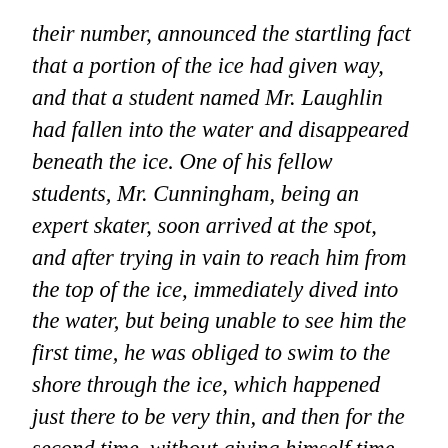their number, announced the startling fact that a portion of the ice had given way, and that a student named Mr. Laughlin had fallen into the water and disappeared beneath the ice. One of his fellow students, Mr. Cunningham, being an expert skater, soon arrived at the spot, and after trying in vain to reach him from the top of the ice, immediately dived into the water, but being unable to see him the first time, he was obliged to swim to the shore through the ice, which happened just there to be very thin, and then for the second time, without giving himself time to divest himself of any garment, he again pluckily went the rescue, plunging into the water and under the ice after his drowning fellow student